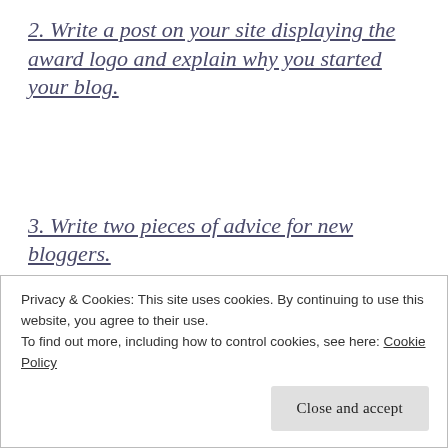2. Write a post on your site displaying the award logo and explain why you started your blog.
3. Write two pieces of advice for new bloggers.
4. Notify and nominate 15 of your favourite
Privacy & Cookies: This site uses cookies. By continuing to use this website, you agree to their use.
To find out more, including how to control cookies, see here: Cookie Policy
Close and accept